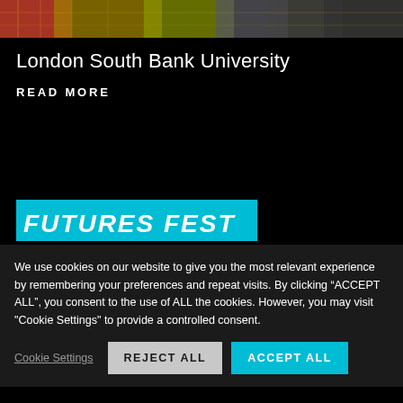[Figure (photo): Top banner strip showing a colorful blurred image of what appears to be bookshelves or university interior]
London South Bank University
READ MORE
[Figure (illustration): FUTURES FEST text on cyan/teal background banner]
We use cookies on our website to give you the most relevant experience by remembering your preferences and repeat visits. By clicking “ACCEPT ALL”, you consent to the use of ALL the cookies. However, you may visit "Cookie Settings" to provide a controlled consent.
Cookie Settings  REJECT ALL  ACCEPT ALL